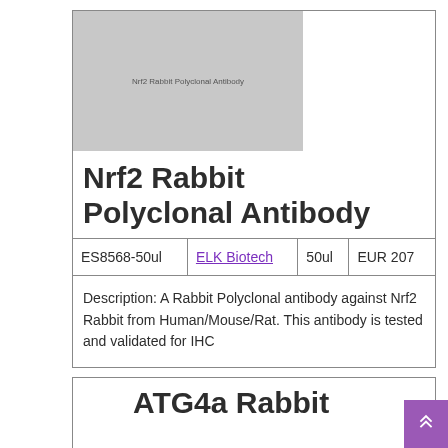[Figure (other): Thumbnail image placeholder for Nrf2 Rabbit Polyclonal Antibody product, gray background with small text label]
Nrf2 Rabbit Polyclonal Antibody
| ES8568-50ul | ELK Biotech | 50ul | EUR 207 |
| --- | --- | --- | --- |
Description: A Rabbit Polyclonal antibody against Nrf2 Rabbit from Human/Mouse/Rat. This antibody is tested and validated for IHC
[Figure (other): Small thumbnail image placeholder for ATG4a Rabbit product, white with border]
ATG4a Rabbit